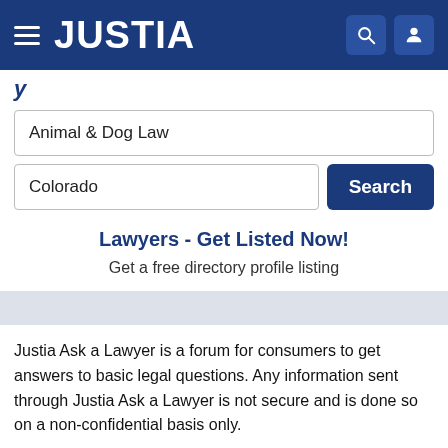JUSTIA
y
Animal & Dog Law
Colorado
Lawyers - Get Listed Now!
Get a free directory profile listing
Justia Ask a Lawyer is a forum for consumers to get answers to basic legal questions. Any information sent through Justia Ask a Lawyer is not secure and is done so on a non-confidential basis only.
The use of this website to ask questions or receive answers does not create an attorney–client relationship between you and Justia, or between you and any attorney who receives your